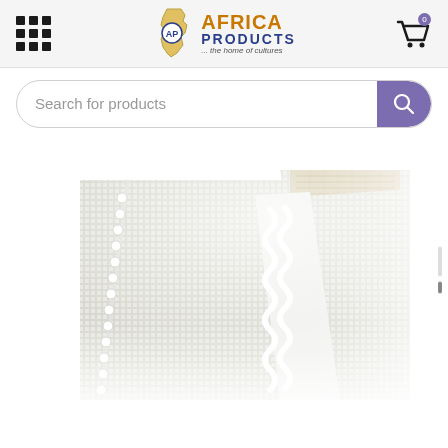Africa Products - the home of cultures
Search for products
[Figure (photo): Close-up photograph of white woven fabric/textile with a grid/waffle texture pattern, showing a folded edge with a beige/natural woven trim or label at the top corner, and decorative white bobble/pom-pom trim along the left edge.]